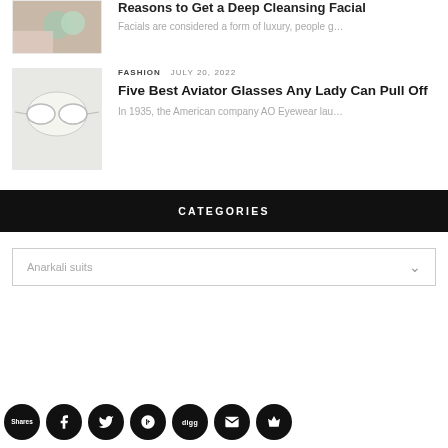[Figure (photo): Thumbnail image of facial/beauty items]
Reasons to Get a Deep Cleansing Facial
Facials are considered a form of luxury, people g...
[Figure (photo): Thumbnail image of aviator glasses or cosmetic items]
FASHION   JULY 20, 2022
Five Best Aviator Glasses Any Lady Can Pull Off
In 1935, the American company AO Eyewear lau...
CATEGORIES
Anarkali suits
[Figure (other): Social sharing icons bar: Shares, Facebook, Twitter, Google+, Digg, Email, Crown]